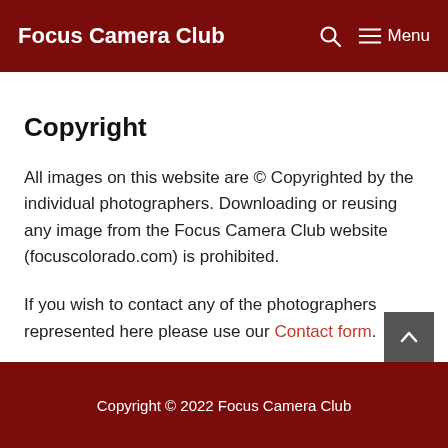Focus Camera Club  Menu
Copyright
All images on this website are © Copyrighted by the individual photographers. Downloading or reusing any image from the Focus Camera Club website (focuscolorado.com) is prohibited.
If you wish to contact any of the photographers represented here please use our Contact form.
Copyright © 2022 Focus Camera Club